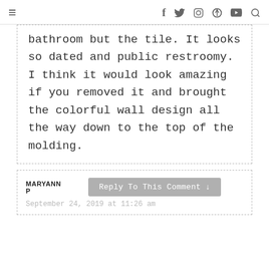≡  f  twitter  instagram  pinterest  youtube  search
bathroom but the tile. It looks so dated and public restroomy. I think it would look amazing if you removed it and brought the colorful wall design all the way down to the top of the molding.
MARYANN P  Reply To This Comment ↓  September 24, 2019 at 11:26 am